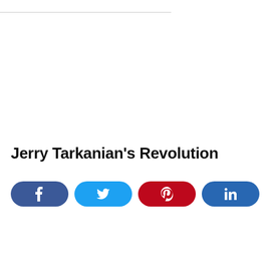Jerry Tarkanian's Revolution
[Figure (other): Social sharing buttons: Facebook, Twitter, Pinterest, LinkedIn]